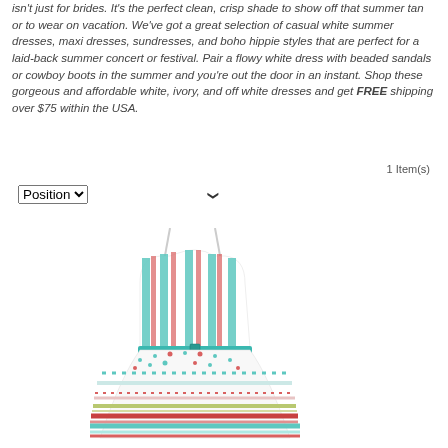isn't just for brides. It's the perfect clean, crisp shade to show off that summer tan or to wear on vacation. We've got a great selection of casual white summer dresses, maxi dresses, sundresses, and boho hippie styles that are perfect for a laid-back summer concert or festival. Pair a flowy white dress with beaded sandals or cowboy boots in the summer and you're out the door in an instant. Shop these gorgeous and affordable white, ivory, and off white dresses and get FREE shipping over $75 within the USA.
1 Item(s)
[Figure (photo): A colorful summer dress with spaghetti straps and a fitted bodice featuring teal, red, and white stripe/floral patterns, with a flared skirt showing similar multicolored stripe patterns. The dress has a teal belt at the waist.]